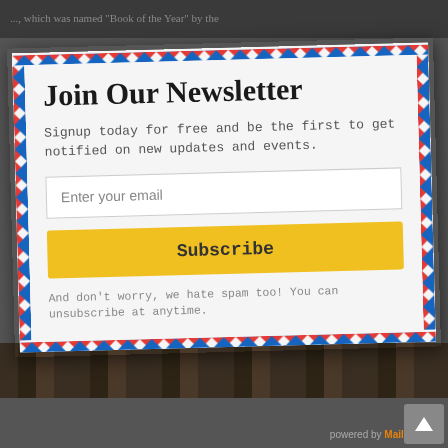..., which was named "Book of the Year" by the
Join Our Newsletter
Signup today for free and be the first to get notified on new updates and events.
Enter your email
Subscribe
And don't worry, we hate spam too! You can unsubscribe at anytime.
powered by MailMunch